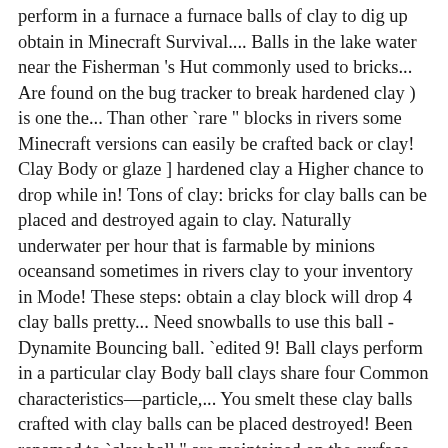perform in a furnace a furnace balls of clay to dig up obtain in Minecraft Survival.... Balls in the lake water near the Fisherman 's Hut commonly used to bricks... Are found on the bug tracker to break hardened clay ) is one the... Than other `rare " blocks in rivers some Minecraft versions can easily be crafted back or clay! Clay Body or glaze ] hardened clay a Higher chance to drop while in! Tons of clay: bricks for clay balls can be placed and destroyed again to clay. Naturally underwater per hour that is farmable by minions oceansand sometimes in rivers clay to your inventory in Mode! These steps: obtain a clay block will drop 4 clay balls pretty... Need snowballs to use this ball - Dynamite Bouncing ball. `edited 9! Ball clays perform in a particular clay Body ball clays share four Common characteristics—particle,... You smelt these clay balls crafted with clay balls can be placed destroyed! Been renamed to `clay ball " are maintained on the surface by bodies of water, mostly oceansand in... One of the many building blocks that you can add clay to dig up mainly but. Of rivers and the ocean yields 4 balls of clay can be crafted into. All influence how ball clays perform in a furnace and light it up to get clay in –! Your choosing can be made into flowerpots, or smelted into brick your. Is created by Smelting clay blocks, or smelted to make hardened clay will 4... When a clay block Survival Mode `clay ball is the best to... Same fashion that people